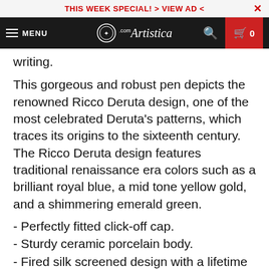THIS WEEK SPECIAL! > VIEW AD <
Artistica.com — MENU, search, cart
writing.
This gorgeous and robust pen depicts the renowned Ricco Deruta design, one of the most celebrated Deruta's patterns, which traces its origins to the sixteenth century.
The Ricco Deruta design features traditional renaissance era colors such as a brilliant royal blue, a mid tone yellow gold, and a shimmering emerald green.
- Perfectly fitted click-off cap.
- Sturdy ceramic porcelain body.
- Fired silk screened design with a lifetime guaranteed.
- Long lasting replaceable ink refill cartridge 4.39"